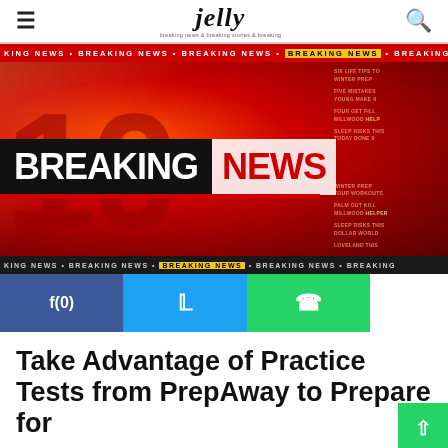jelly
[Figure (photo): Breaking news TV broadcast background with red studio set, large bold 'BREAKING NEWS' banner text, ticker tapes at top and bottom, and right-side news text panel]
[Figure (infographic): Social share buttons bar: Facebook f(0), Twitter bird icon, WhatsApp phone icon]
Take Advantage of Practice Tests from PrepAway to Prepare for